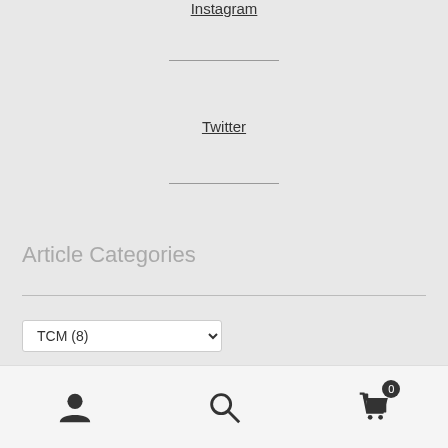Instagram
Twitter
Article Categories
TCM (8)
User icon, Search icon, Cart icon with badge 0